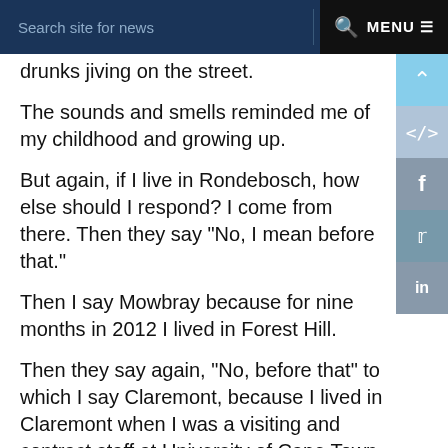Search site for news  Q  MENU
drunks jiving on the street.
The sounds and smells reminded me of my childhood and growing up.
But again, if I live in Rondebosch, how else should I respond? I come from there. Then they say "No, I mean before that."
Then I say Mowbray because for nine months in 2012 I lived in Forest Hill.
Then they say again, "No, before that" to which I say Claremont, because I lived in Claremont when I was a visiting and contract staff at University of Cape Town the year before.
Not satisfied, they push further with a "No, before that" to which I say Durbanville.